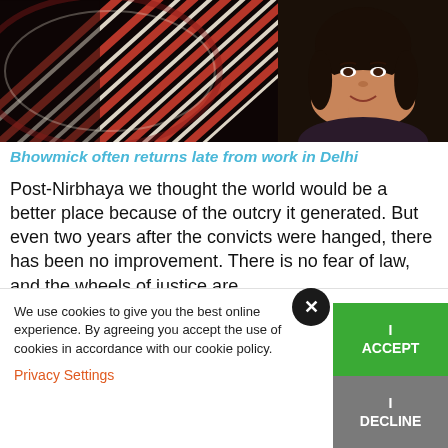[Figure (photo): Split image: left side shows colorful red and white striped fabric/textile with a dark background; right side shows a smiling woman with dark hair and earrings against a dark background.]
Bhowmick often returns late from work in Delhi
Post-Nirbhaya we thought the world would be a better place because of the outcry it generated. But even two years after the convicts were hanged, there has been no improvement. There is no fear of law, and the wheels of justice are
We use cookies to give you the best online experience. By agreeing you accept the use of cookies in accordance with our cookie policy.
Privacy Settings
I
ACCEPT
I
DECLINE